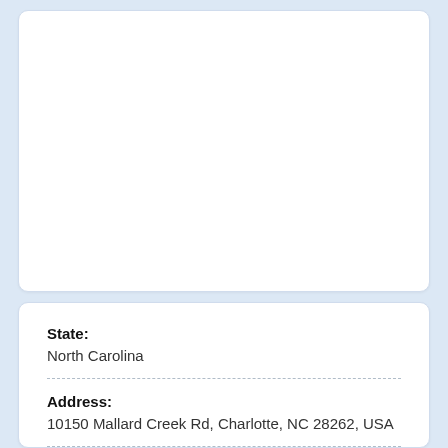State:
North Carolina
Address:
10150 Mallard Creek Rd, Charlotte, NC 28262, USA
Zip code:
28262